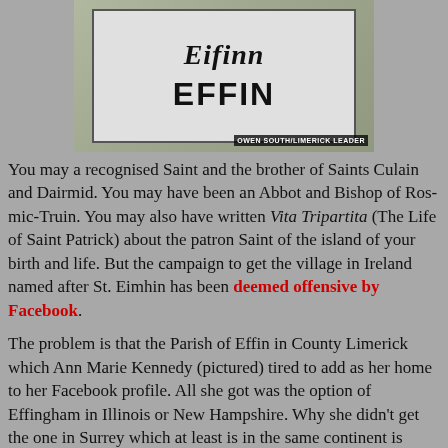[Figure (photo): Photo of a road sign reading 'Eifinn' in Irish and 'EFFIN' in English, with a person holding a green and white flag behind the sign. Photo credit: OWEN SOUTH/LIMERICK LEADER]
You may a recognised Saint and the brother of Saints Culain and Dairmid. You may have been an Abbot and Bishop of Ros-mic-Truin. You may also have written Vita Tripartita (The Life of Saint Patrick) about the patron Saint of the island of your birth and life. But the campaign to get the village in Ireland named after St. Eimhin has been deemed offensive by Facebook.
The problem is that the Parish of Effin in County Limerick which Ann Marie Kennedy (pictured) tired to add as her home to her Facebook profile. All she got was the option of Effingham in Illinois or New Hampshire. Why she didn't get the one in Surrey which at least is in the same continent is another wonder.
But she attempted to set up a Facebook page to get Effin